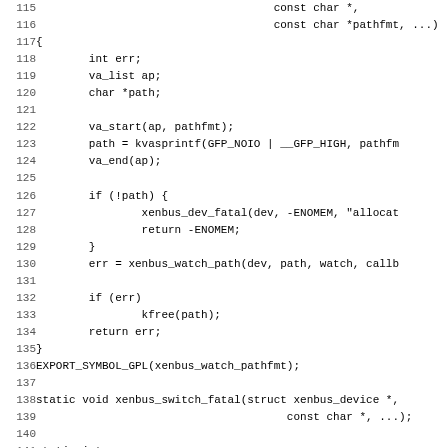Source code listing, lines 115-147, showing C kernel code for xenbus watch path and xenbus switch state functions.